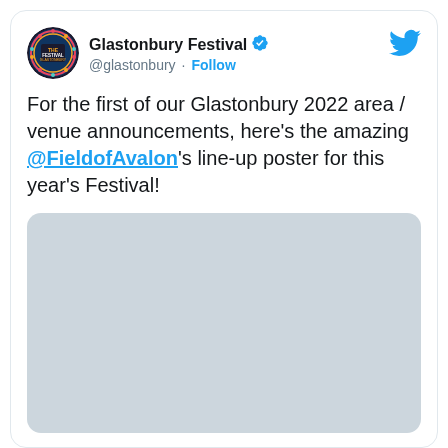[Figure (logo): Glastonbury Festival circular logo avatar]
Glastonbury Festival @glastonbury · Follow
[Figure (logo): Twitter bird logo icon]
For the first of our Glastonbury 2022 area / venue announcements, here's the amazing @FieldofAvalon's line-up poster for this year's Festival!
[Figure (photo): Gray placeholder image for embedded media]